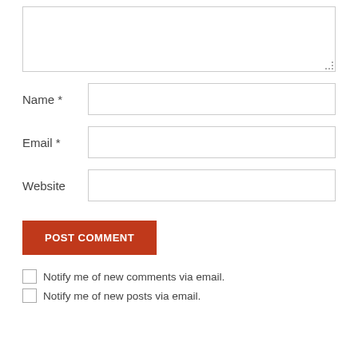[Figure (screenshot): A textarea input box with resize handle at bottom-right corner]
Name *
Email *
Website
POST COMMENT
Notify me of new comments via email.
Notify me of new posts via email.